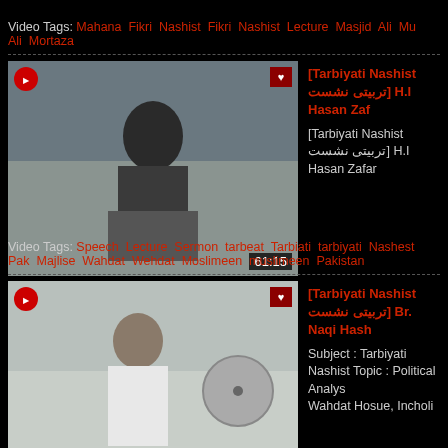Video Tags: Mahana Fikri Nashist Fikri Nashist Lecture Masjid Ali Mur Ali Mortaza
[Figure (screenshot): Video thumbnail showing a man in dark clothing speaking, with duration badge 61:15]
[Tarbiyati Nashist تربیتی نشست] H.I Hasan Zafar
[Tarbiyati Nashist تربیتی نشست] H.I Hasan Zafar
Video Tags: Speech Lecture Sermon tarbeat Tarbiati tarbiyati Nashest Pak Majlise Wahdat Wehdat Moslimeen muslimeen Pakistan
[Figure (screenshot): Video thumbnail showing a bearded man in white clothing seated, with duration badge 52:31]
[Tarbiyati Nashist تربیتی نشست] Br. Naqi Hash
Subject : Tarbiyati Nashist Topic : Political Analys Wahdat Hosue, Incholi